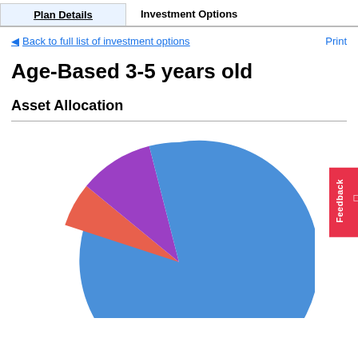Plan Details | Investment Options
◄ Back to full list of investment options   Print
Age-Based 3-5 years old
Asset Allocation
[Figure (pie-chart): Asset Allocation]